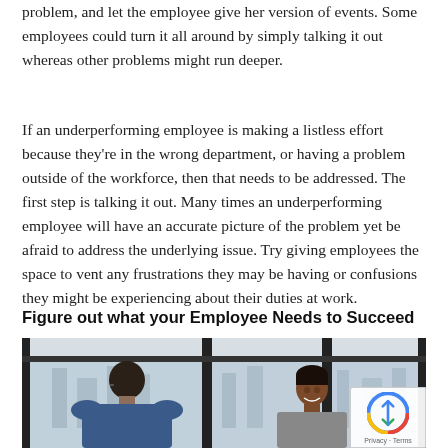problem, and let the employee give her version of events. Some employees could turn it all around by simply talking it out whereas other problems might run deeper.
If an underperforming employee is making a listless effort because they're in the wrong department, or having a problem outside of the workforce, then that needs to be addressed. The first step is talking it out. Many times an underperforming employee will have an accurate picture of the problem yet be afraid to address the underlying issue. Try giving employees the space to vent any frustrations they may be having or confusions they might be experiencing about their duties at work.
Figure out what your Employee Needs to Succeed
[Figure (photo): Two people in an office conversation, one facing away in a blue shirt, another facing toward the camera smiling, with large windows and a cityscape in the background.]